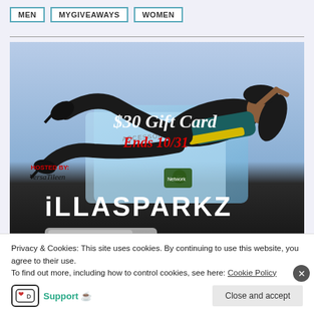MEN | MYGIVEAWAYS | WOMEN
[Figure (illustration): Promotional image for iLLASPARKZ $30 Gift Card giveaway ending 10/31, featuring a stylized illustration of a woman in black outfit against a light blue background, with gift card imagery, hosted by VersaTileen]
Privacy & Cookies: This site uses cookies. By continuing to use this website, you agree to their use. To find out more, including how to control cookies, see here: Cookie Policy
Support 🫰  Close and accept